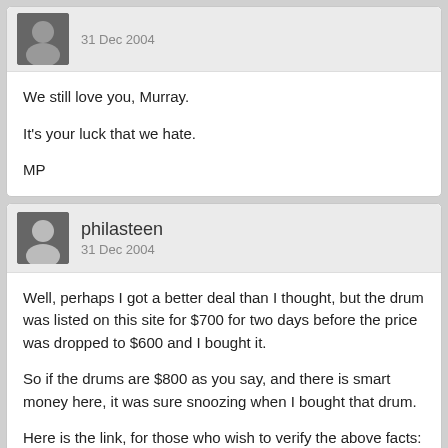We still love you, Murray.

It's your luck that we hate.

MP
philasteen
31 Dec 2004
Well, perhaps I got a better deal than I thought, but the drum was listed on this site for $700 for two days before the price was dropped to $600 and I bought it.

So if the drums are $800 as you say, and there is smart money here, it was sure snoozing when I bought that drum.

Here is the link, for those who wish to verify the above facts: Link
john
31 Dec 2004
Pat, you picked up that Bridgeport drum at the SAR show at a very